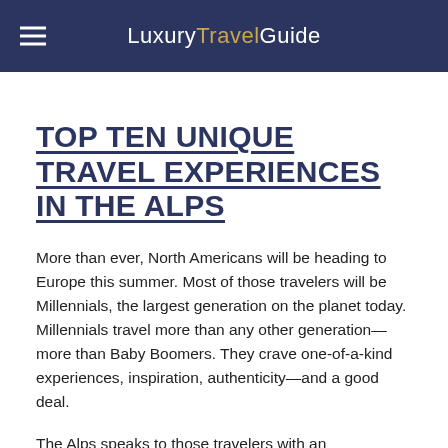LuxuryTravelGuide
TOP TEN UNIQUE TRAVEL EXPERIENCES IN THE ALPS
More than ever, North Americans will be heading to Europe this summer. Most of those travelers will be Millennials, the largest generation on the planet today. Millennials travel more than any other generation—more than Baby Boomers. They crave one-of-a-kind experiences, inspiration, authenticity—and a good deal.
The Alps speaks to those travelers with an independent and explorative nature. It's a place where active travelers